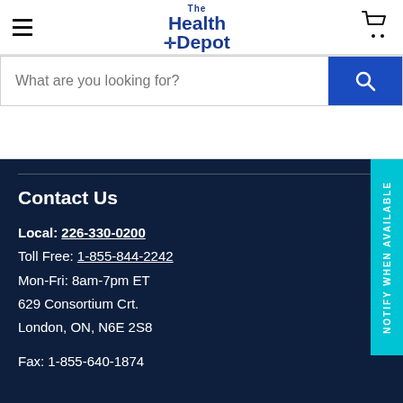The Health Depot
What are you looking for?
Contact Us
Local: 226-330-0200
Toll Free: 1-855-844-2242
Mon-Fri: 8am-7pm ET
629 Consortium Crt.
London, ON, N6E 2S8
Fax: 1-855-640-1874
NOTIFY WHEN AVAILABLE